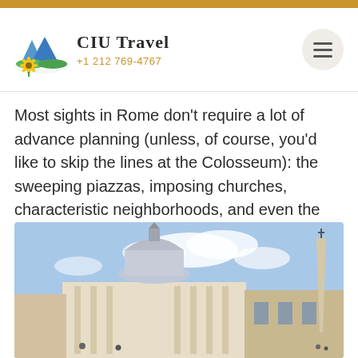[Figure (logo): CIU Travel logo with mountain and sunflower icon, company name 'CIU TRAVEL', and phone number +1 212 769-4767. A hamburger menu button appears on the right.]
Most sights in Rome don't require a lot of advance planning (unless, of course, you'd like to skip the lines at the Colosseum): the sweeping piazzas, imposing churches, characteristic neighborhoods, and even the Trevi Fountain just involve showing up.
[Figure (photo): Photograph of St. Peter's Basilica in Vatican City with an Egyptian obelisk visible on the right, under a partly cloudy blue sky.]